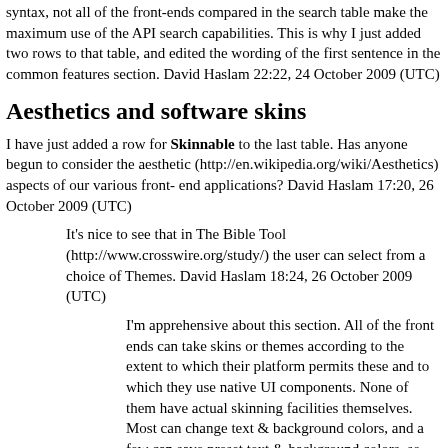syntax, not all of the front-ends compared in the search table make the maximum use of the API search capabilities. This is why I just added two rows to that table, and edited the wording of the first sentence in the common features section. David Haslam 22:22, 24 October 2009 (UTC)
Aesthetics and software skins
I have just added a row for Skinnable to the last table. Has anyone begun to consider the aesthetic (http://en.wikipedia.org/wiki/Aesthetics) aspects of our various front-end applications? David Haslam 17:20, 26 October 2009 (UTC)
It's nice to see that in The Bible Tool (http://www.crosswire.org/study/) the user can select from a choice of Themes. David Haslam 18:24, 26 October 2009 (UTC)
I'm apprehensive about this section. All of the front ends can take skins or themes according to the extent to which their platform permits these and to which they use native UI components. None of them have actual skinning facilities themselves. Most can change text & background colors, and a few can save preset text & background colors, so they really should be...